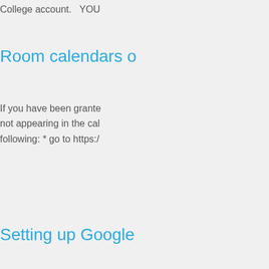College account.   YOU
Room calendars o
If you have been grante not appearing in the cal following: * go to https:/
Setting up Google
INSTRUCTIONS FOR S ADDING YOUR ACCOU GOSHEN MAIL FOR IO a...
Shared Drives Tra
Shared Drives is a new create, store, search, a collaboration easy witho
TeamworkPM on i
If your department is i